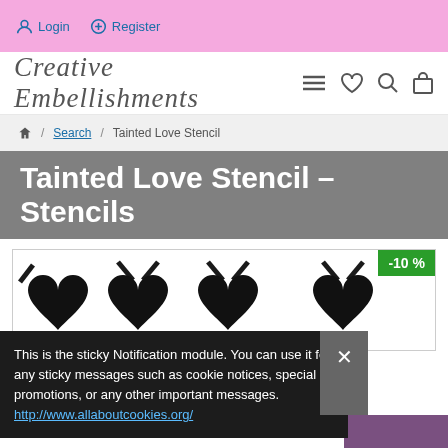Login  Register
[Figure (logo): Creative Embellishments script logo with hamburger menu, heart, search, and bag icons]
🏠 / Search / Tainted Love Stencil
Tainted Love Stencil – Stencils
[Figure (photo): Product image showing stencil pattern with hearts and diagonal lines; -10% discount badge in green]
This is the sticky Notification module. You can use it for any sticky messages such as cookie notices, special promotions, or any other important messages. http://www.allaboutcookies.org/